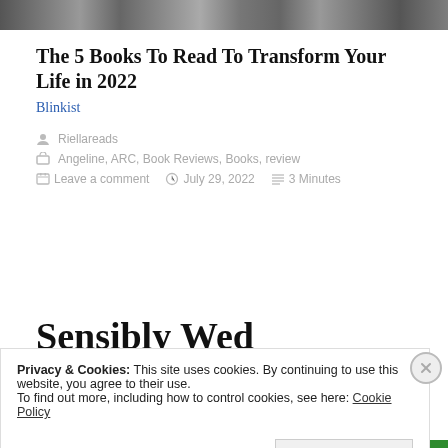[Figure (photo): Black and white photo strip at top of page, cropped close-up appearing to show fur or hair texture]
The 5 Books To Read To Transform Your Life in 2022
Blinkist
Riellareads
Angeline, ARC, Book Reviews, Books, review
Leave a comment   July 29, 2022   3 Minutes
Sensibly Wed
Privacy & Cookies: This site uses cookies. By continuing to use this website, you agree to their use.
To find out more, including how to control cookies, see here: Cookie Policy
Close and accept